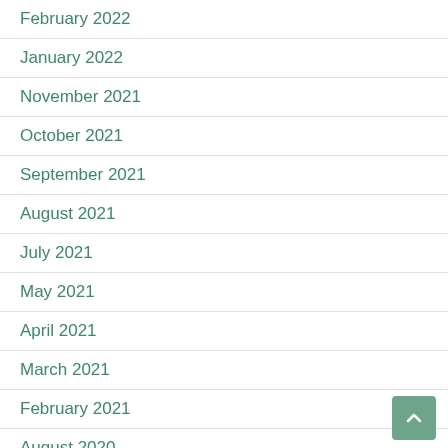February 2022
January 2022
November 2021
October 2021
September 2021
August 2021
July 2021
May 2021
April 2021
March 2021
February 2021
August 2020
July 2020